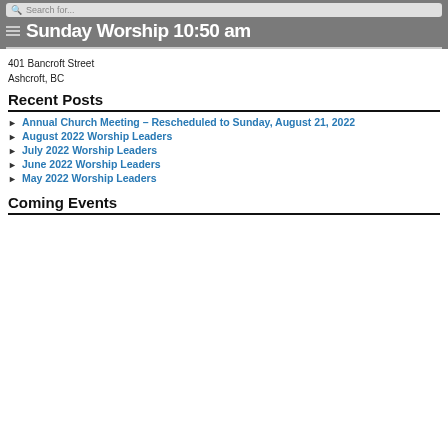Sunday Worship 10:50 am
401 Bancroft Street
Ashcroft, BC
Recent Posts
Annual Church Meeting – Rescheduled to Sunday, August 21, 2022
August 2022 Worship Leaders
July 2022 Worship Leaders
June 2022 Worship Leaders
May 2022 Worship Leaders
Coming Events